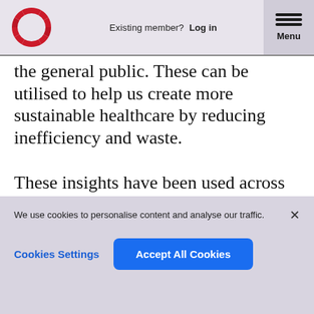Existing member? Log in  Menu
the general public. These can be utilised to help us create more sustainable healthcare by reducing inefficiency and waste.

These insights have been used across healthcare to generate low cost interventions to improve service outcomes. Many of them may seem like common sense which is exactly what they
We use cookies to personalise content and analyse our traffic.
Cookies Settings   Accept All Cookies